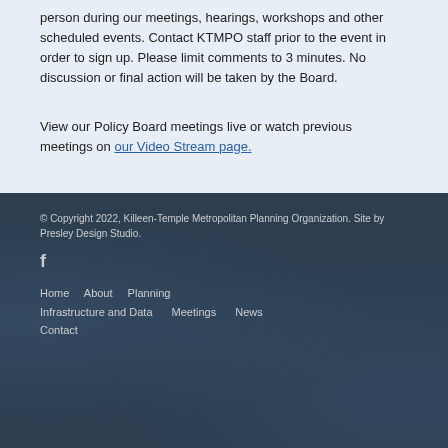person during our meetings, hearings, workshops and other scheduled events. Contact KTMPO staff prior to the event in order to sign up. Please limit comments to 3 minutes. No discussion or final action will be taken by the Board.
View our Policy Board meetings live or watch previous meetings on our Video Stream page.
© Copyright 2022, Killeen-Temple Metropolitan Planning Organization. Site by Presley Design Studio.
Home  About  Planning  Infrastructure and Data  Meetings  News  Contact